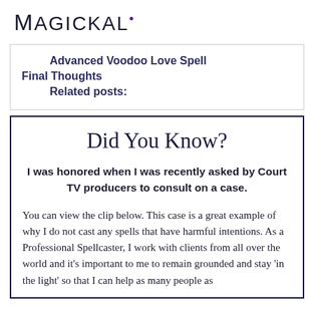Magickal
Advanced Voodoo Love Spell
Final Thoughts
Related posts:
Did You Know?
I was honored when I was recently asked by Court TV producers to consult on a case.
You can view the clip below. This case is a great example of why I do not cast any spells that have harmful intentions. As a Professional Spellcaster, I work with clients from all over the world and it's important to me to remain grounded and stay 'in the light' so that I can help as many people as